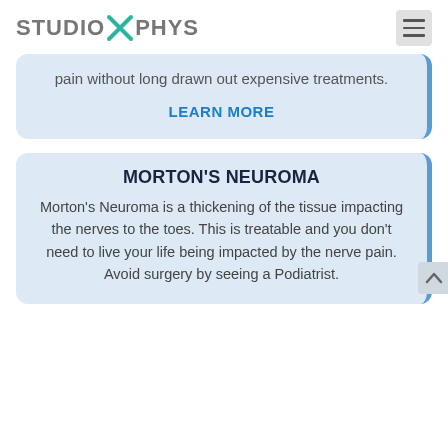STUDIO X PHYS
pain without long drawn out expensive treatments.
LEARN MORE
MORTON'S NEUROMA
Morton's Neuroma is a thickening of the tissue impacting the nerves to the toes. This is treatable and you don't need to live your life being impacted by the nerve pain. Avoid surgery by seeing a Podiatrist.